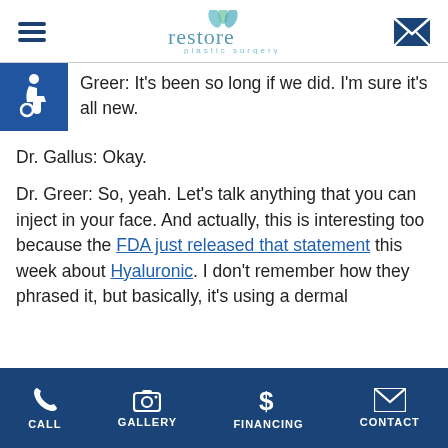restore plastic surgery
Greer: It's been so long if we did. I'm sure it's all new.
Dr. Gallus: Okay.
Dr. Greer: So, yeah. Let's talk anything that you can inject in your face. And actually, this is interesting too because the FDA just released that statement this week about Hyaluronic. I don't remember how they phrased it, but basically, it's using a dermal
CALL | GALLERY | FINANCING | CONTACT